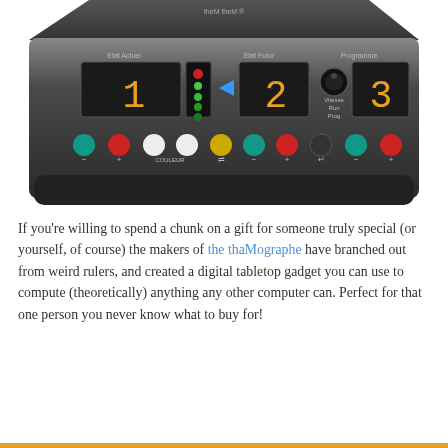[Figure (photo): A dark-colored digital tabletop device (thaMographe) with LED displays showing numbers 1, 2, and 3, labeled sections 'Etat Actuel', 'Etat Futur', and 'Programme', with colored buttons and a knob labeled 'Vitesse Run Prog'. The device branding reads 'theM theM' at top.]
If you're willing to spend a chunk on a gift for someone truly special (or yourself, of course) the makers of the thaMographe have branched out from weird rulers, and created a digital tabletop gadget you can use to compute (theoretically) anything any other computer can. Perfect for that one person you never know what to buy for!